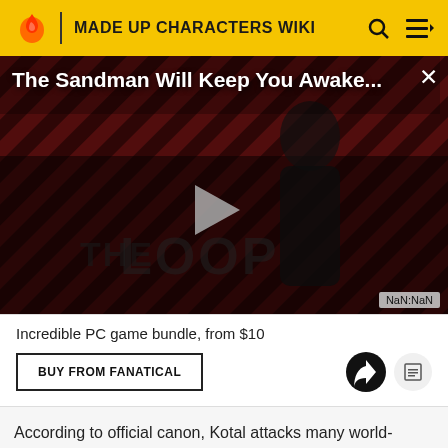MADE UP CHARACTERS WIKI
[Figure (screenshot): Video player showing 'The Sandman Will Keep You Awake...' with a dark figure on a red striped background, play button in center, THE LOOP logo at bottom, NaN:NaN timestamp]
Incredible PC game bundle, from $10
BUY FROM FANATICAL
According to official canon, Kotal attacks many world-